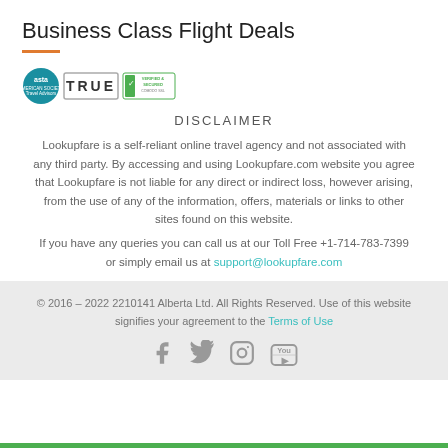Business Class Flight Deals
[Figure (logo): ASTA American Society of Travel Advisors logo, TRUE logo, and Verified & Secured badge]
DISCLAIMER
Lookupfare is a self-reliant online travel agency and not associated with any third party. By accessing and using Lookupfare.com website you agree that Lookupfare is not liable for any direct or indirect loss, however arising, from the use of any of the information, offers, materials or links to other sites found on this website.
If you have any queries you can call us at our Toll Free +1-714-783-7399 or simply email us at support@lookupfare.com
© 2016 – 2022 2210141 Alberta Ltd. All Rights Reserved. Use of this website signifies your agreement to the Terms of Use
[Figure (other): Social media icons: Facebook, Twitter, Instagram, YouTube]